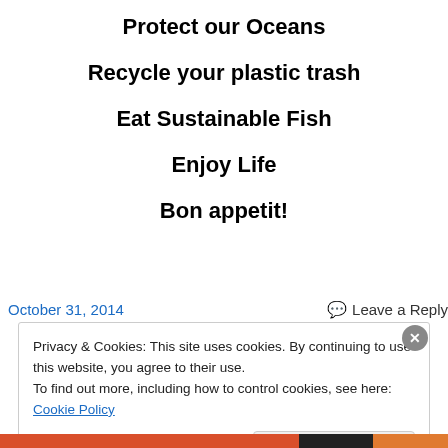Protect our Oceans
Recycle your plastic trash
Eat Sustainable Fish
Enjoy Life
Bon appetit!
October 31, 2014
Leave a Reply
Privacy & Cookies: This site uses cookies. By continuing to use this website, you agree to their use. To find out more, including how to control cookies, see here: Cookie Policy
Close and accept